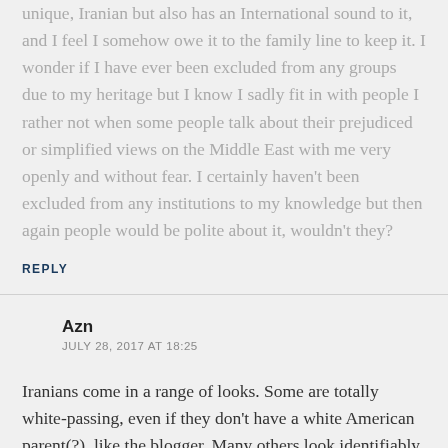unique, Iranian but also has an International sound to it, and I feel I somehow owe it to the family line to keep it. I wonder if I have ever been excluded from any groups due to my heritage but I know I sadly fit in with people I rather not when some people talk about their prejudiced or simplified views on the Middle East with me very openly and without fear. I certainly haven't been excluded from any institutions to my knowledge but then again people would be polite about it, wouldn't they?
REPLY
Azn
JULY 28, 2017 AT 18:25
Iranians come in a range of looks. Some are totally white-passing, even if they don't have a white American parent(?), like the blogger. Many others look identifiably